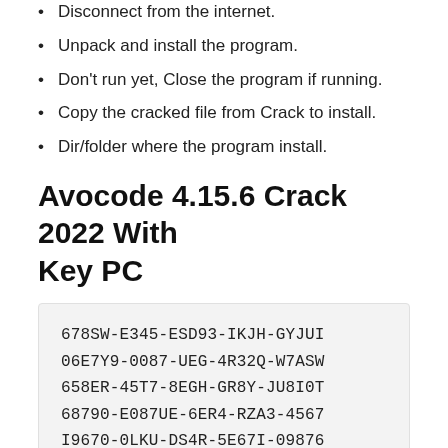Disconnect from the internet.
Unpack and install the program.
Don't run yet, Close the program if running.
Copy the cracked file from Crack to install.
Dir/folder where the program install.
Avocode 4.15.6 Crack 2022 With Key PC
678SW-E345-ESD93-IKJH-GYJUI
06E7Y9-0087-UEG-4R32Q-W7ASW
658ER-45T7-8EGH-GR8Y-JU8I0T
68790-E087UE-6ER4-RZA3-4567
I9670-0LKU-DS4R-5E67I-09876
Avocode 4.15.6 Crack 2022 With